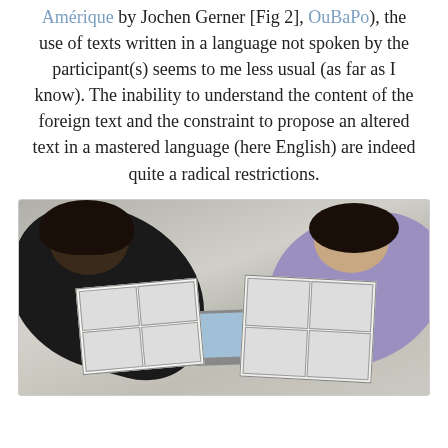Amérique by Jochen Gerner [Fig 2], OuBaPo), the use of texts written in a language not spoken by the participant(s) seems to me less usual (as far as I know). The inability to understand the content of the foreign text and the constraint to propose an altered text in a mastered language (here English) are indeed quite a radical restrictions.
[Figure (photo): Overhead photo of two people sitting at a table, working on comic book pages. Person on left wears black clothing, person on right wears purple/light clothing. Comic book pages and a laptop are visible on the table.]